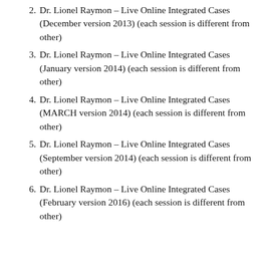Dr. Lionel Raymon – Live Online Integrated Cases (December version 2013) (each session is different from other)
Dr. Lionel Raymon – Live Online Integrated Cases (January version 2014) (each session is different from other)
Dr. Lionel Raymon – Live Online Integrated Cases (MARCH version 2014) (each session is different from other)
Dr. Lionel Raymon – Live Online Integrated Cases (September version 2014) (each session is different from other)
Dr. Lionel Raymon – Live Online Integrated Cases (February version 2016) (each session is different from other)